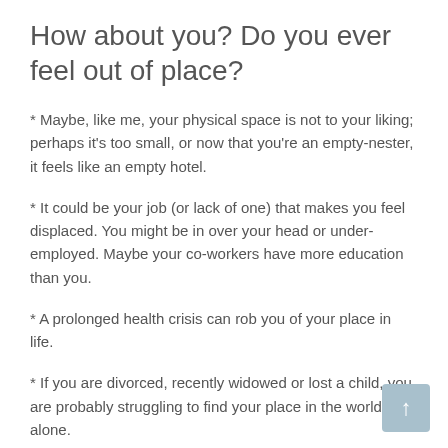How about you? Do you ever feel out of place?
* Maybe, like me, your physical space is not to your liking; perhaps it's too small, or now that you're an empty-nester, it feels like an empty hotel.
* It could be your job (or lack of one) that makes you feel displaced. You might be in over your head or under-employed. Maybe your co-workers have more education than you.
* A prolonged health crisis can rob you of your place in life.
* If you are divorced, recently widowed or lost a child, you are probably struggling to find your place in the world alone.